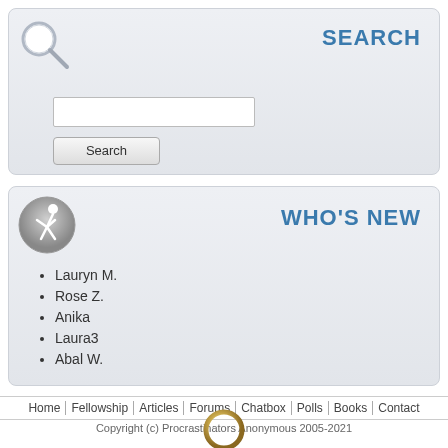SEARCH
[Figure (illustration): Magnifying glass search icon, grey and white]
[Figure (illustration): Search input field (empty white rectangle)]
Search (button)
WHO'S NEW
[Figure (illustration): Running person icon, silver/metallic circle]
Lauryn M.
Rose Z.
Anika
Laura3
Abal W.
Home | Fellowship | Articles | Forums | Chatbox | Polls | Books | Contact
Copyright (c) Procrastinators Anonymous 2005-2021
[Figure (illustration): Gold/brass ring or circle logo at bottom center]